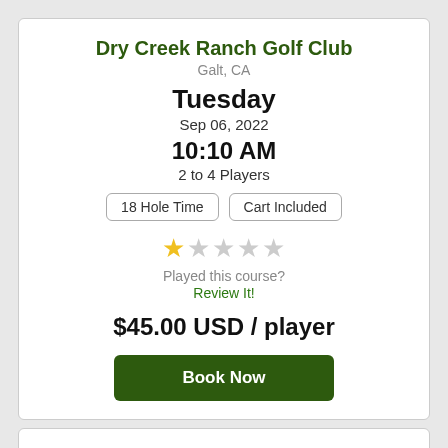Dry Creek Ranch Golf Club
Galt, CA
Tuesday
Sep 06, 2022
10:10 AM
2 to 4 Players
18 Hole Time
Cart Included
Played this course?
Review It!
$45.00 USD / player
Book Now
Dry Creek Ranch Golf Club
Galt, CA